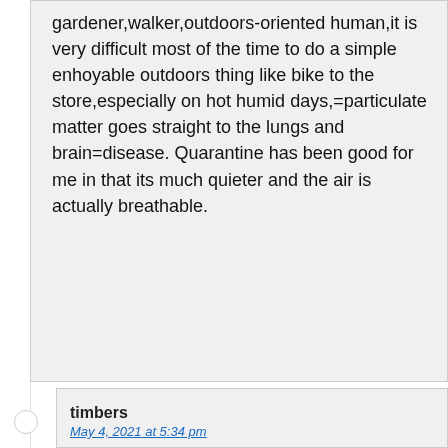gardener,walker,outdoors-oriented human,it is very difficult most of the time to do a simple enhoyable outdoors thing like bike to the store,especially on hot humid days,=particulate matter goes straight to the lungs and brain=disease. Quarantine has been good for me in that its much quieter and the air is actually breathable.
timbers
May 4, 2021 at 5:34 pm
In other words, it’s because America has the lowest corporate tax rates that is